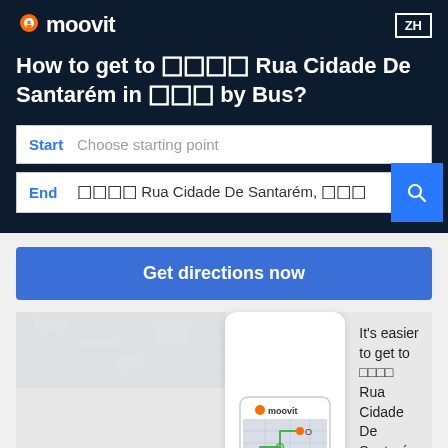[Figure (logo): Moovit logo with orange location pin icon and white text 'moovit' on dark navy background]
ZH
How to get to ꜀꜀꜀꜀ Rua Cidade De Santarém in ꜀꜀꜀ by Bus?
Start   Choose starting point
End   ꜀꜀꜀꜀ Rua Cidade De Santarém, ꜀꜀꜀
Get directions now
[Figure (screenshot): Moovit app phone mockup showing map route with green and orange location markers]
It's easier to get to ꜀꜀꜀꜀ Rua Cidade De Santarém with the app!
Get the App